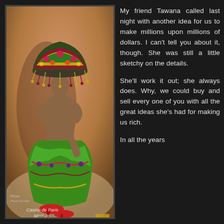[Figure (photo): Vintage colorized photograph of a woman in an elaborate feathered/beaded headdress and ornate green skirt costume, viewed from behind, with text 'Casino de Paris Melle Jo' in lower left corner]
My friend Tawana called last night with another idea for us to make millions upon millions of dollars. I can't tell you about it, though. She was still a little sketchy on the details.

She'll work it out; she always does. Why, we could buy and sell every one of you with all the great ideas she's had for making us rich.

In all the years